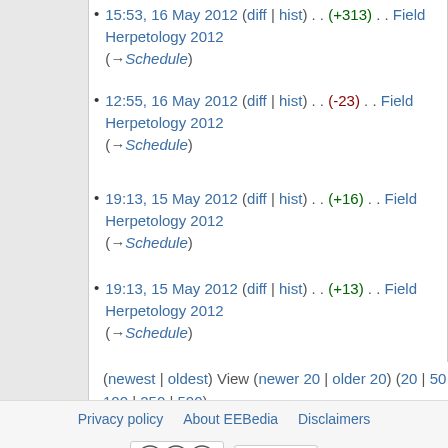15:53, 16 May 2012 (diff | hist) . . (+313) . . Field Herpetology 2012 (→Schedule)
12:55, 16 May 2012 (diff | hist) . . (-23) . . Field Herpetology 2012 (→Schedule)
19:13, 15 May 2012 (diff | hist) . . (+16) . . Field Herpetology 2012 (→Schedule)
19:13, 15 May 2012 (diff | hist) . . (+13) . . Field Herpetology 2012 (→Schedule)
(newest | oldest) View (newer 20 | older 20) (20 | 50 | 100 | 250 | 500)
Privacy policy   About EEBedia   Disclaimers